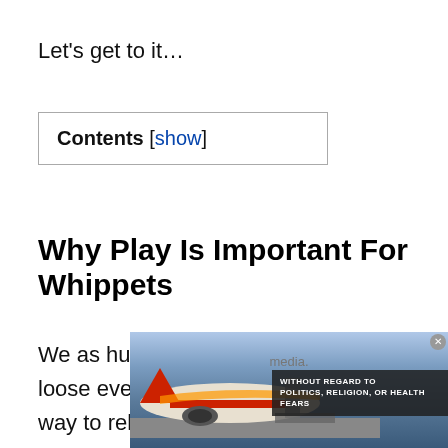Let's get to it…
Contents [show]
Why Play Is Important For Whippets
We as humans enjoy letting ourselves loose every now and again, it's a great way to relieve stress and keeps us happy, the same i...
[Figure (photo): Advertisement overlay showing an airplane being loaded with cargo, with text 'WITHOUT REGARD TO POLITICS, RELIGION, OR HEALTH FEARS' and a 'media.' watermark]